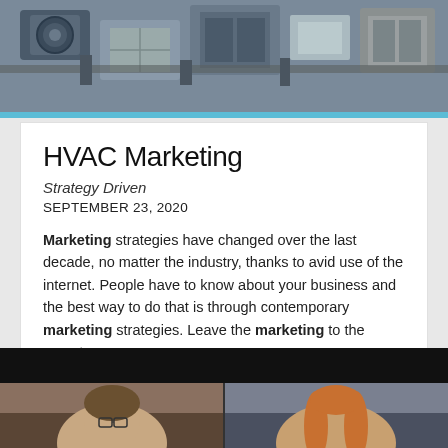[Figure (photo): Aerial view of HVAC rooftop units and mechanical equipment on a building roof, grayish-blue tones]
HVAC Marketing
Strategy Driven
SEPTEMBER 23, 2020
Marketing strategies have changed over the last decade, no matter the industry, thanks to avid use of the internet. People have to know about your business and the best way to do that is through contemporary marketing strategies. Leave the marketing to the experts.
[Figure (photo): Two people visible in a video call or photo — a man with glasses on the left and a woman with long hair on the right, dark background at top]